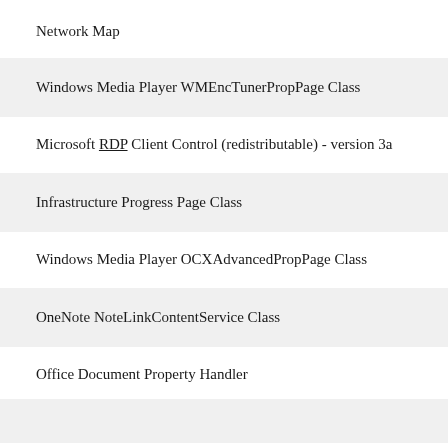Network Map
Windows Media Player WMEncTunerPropPage Class
Microsoft RDP Client Control (redistributable) - version 3a
Infrastructure Progress Page Class
Windows Media Player OCXAdvancedPropPage Class
OneNote NoteLinkContentService Class
Office Document Property Handler